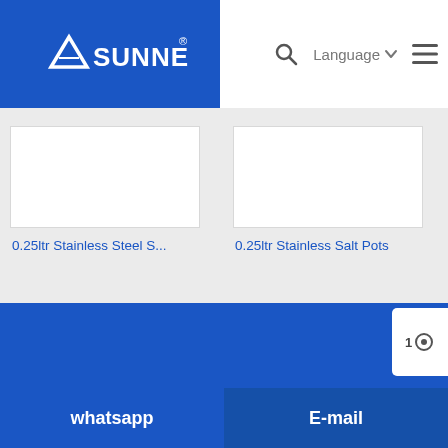[Figure (logo): Sunnex logo — white triangle/mountain icon and SUNNEX text on blue background, with registered trademark symbol]
Language
[Figure (photo): 0.25ltr Stainless Steel S... product image placeholder (white box)]
0.25ltr Stainless Steel S...
[Figure (photo): 0.25ltr Stainless Salt Pots product image placeholder (white box)]
0.25ltr Stainless Salt Pots
whatsapp
E-mail